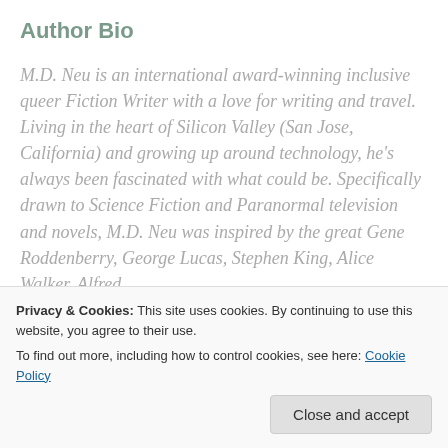Author Bio
M.D. Neu is an international award-winning inclusive queer Fiction Writer with a love for writing and travel. Living in the heart of Silicon Valley (San Jose, California) and growing up around technology, he's always been fascinated with what could be. Specifically drawn to Science Fiction and Paranormal television and novels, M.D. Neu was inspired by the great Gene Roddenberry, George Lucas, Stephen King, Alice Walker, Alfred
Privacy & Cookies: This site uses cookies. By continuing to use this website, you agree to their use.
To find out more, including how to control cookies, see here: Cookie Policy
Close and accept
always wondered why there were never stories